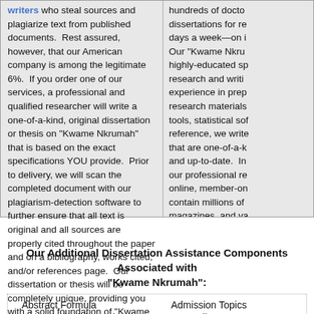writers who steal sources and plagiarize text from published documents. Rest assured, however, that our American company is among the legitimate 6%. If you order one of our services, a professional and qualified researcher will write a one-of-a-kind, original dissertation or thesis on "Kwame Nkrumah" that is based on the exact specifications YOU provide. Prior to delivery, we will scan the completed document with our plagiarism-detection software to further ensure that all text is original and all sources are properly cited throughout the paper and on a bibliography, works cited, and/or references page. Our dissertation or thesis will be completely unique, providing you with a solid foundation of "Kwame Nkrumah" research. You may visit our FAQ page for more information.
hundreds of doctors dissertations for re days a week—on i Our "Kwame Nkru highly-educated sp research and writi experience in prep research materials tools, statistical so reference, we write that are one-of-a-k and up-to-date. In our professional re online, member-on contain millions of magazines, and va conceivable "Kwan remember, we can length, at ANY leve date—guaranteed
Our Additional Dissertation Assistance Components Associated with "Kwame Nkrumah":
| Abstract Formula | Admission Topics |
| Annotated Bibliography Tips | Appendix Structure |
| How to Argue Revision | Assignments Writing |